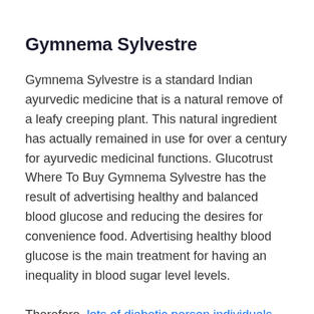Gymnema Sylvestre
Gymnema Sylvestre is a standard Indian ayurvedic medicine that is a natural remove of a leafy creeping plant. This natural ingredient has actually remained in use for over a century for ayurvedic medicinal functions. Glucotrust Where To Buy Gymnema Sylvestre has the result of advertising healthy and balanced blood glucose and reducing the desires for convenience food. Advertising healthy blood glucose is the main treatment for having an inequality in blood sugar level levels.
Therefore, lots of diabetic person individuals take